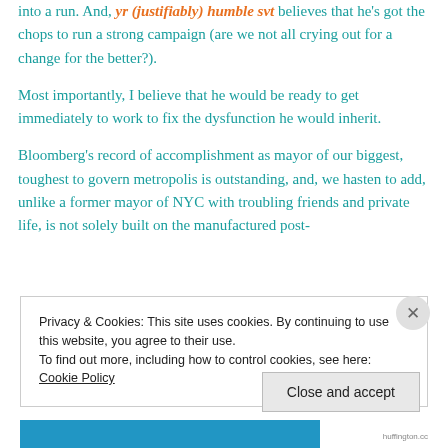into a run. And, yr (justifiably) humble svt believes that he's got the chops to run a strong campaign (are we not all crying out for a change for the better?).
Most importantly, I believe that he would be ready to get immediately to work to fix the dysfunction he would inherit.
Bloomberg's record of accomplishment as mayor of our biggest, toughest to govern metropolis is outstanding, and, we hasten to add, unlike a former mayor of NYC with troubling friends and private life, is not solely built on the manufactured post-
Privacy & Cookies: This site uses cookies. By continuing to use this website, you agree to their use.
To find out more, including how to control cookies, see here: Cookie Policy